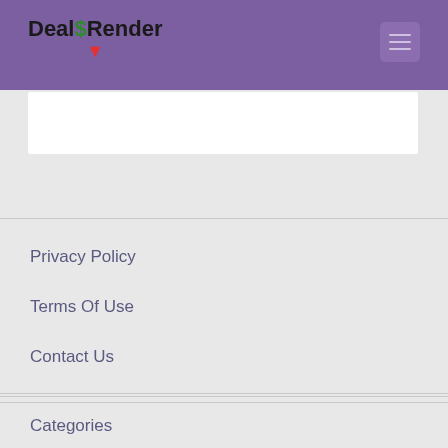Deal$Render
Privacy Policy
Terms Of Use
Contact Us
Home
About Us
Blog
Categories